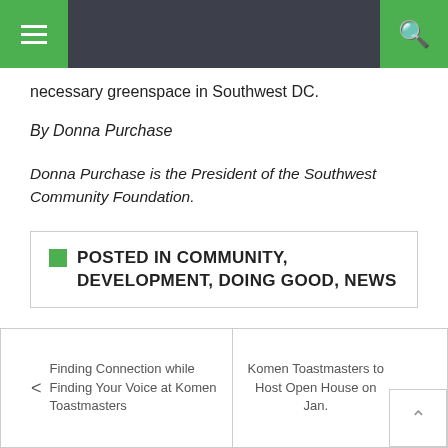Navigation bar with menu and search
necessary greenspace in Southwest DC.
By Donna Purchase
Donna Purchase is the President of the Southwest Community Foundation.
POSTED IN COMMUNITY, DEVELOPMENT, DOING GOOD, NEWS
Finding Connection while Finding Your Voice at Komen Toastmasters
Komen Toastmasters to Host Open House on Jan.